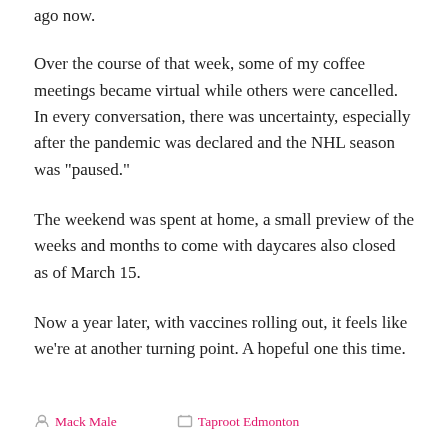ago now.
Over the course of that week, some of my coffee meetings became virtual while others were cancelled. In every conversation, there was uncertainty, especially after the pandemic was declared and the NHL season was "paused."
The weekend was spent at home, a small preview of the weeks and months to come with daycares also closed as of March 15.
Now a year later, with vaccines rolling out, it feels like we're at another turning point. A hopeful one this time.
Mack Male   Taproot Edmonton